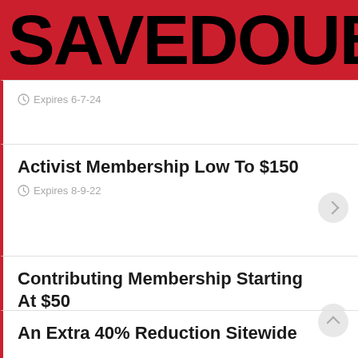SAVEDOUB
Expires 6-7-24
Activist Membership Low To $150
Expires 8-9-22
Contributing Membership Starting At $50
Expires 22-9-22
An Extra 40% Reduction Sitewide